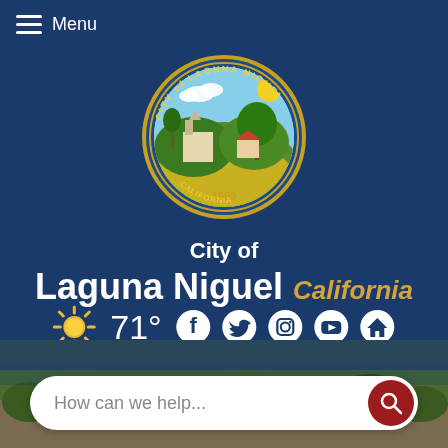Menu
[Figure (logo): City of Laguna Niguel official seal, circular, 1989, blue border with gold text]
City of Laguna Niguel California
71°
[Figure (infographic): Social media icons: Facebook, Twitter, Instagram, YouTube, and home icon]
[Figure (photo): Landscape background with green shrubs and vegetation]
How can we help...